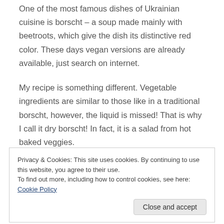One of the most famous dishes of Ukrainian cuisine is borscht – a soup made mainly with beetroots, which give the dish its distinctive red color. These days vegan versions are already available, just search on internet.
My recipe is something different. Vegetable ingredients are similar to those like in a traditional borscht, however, the liquid is missed! That is why I call it dry borscht! In fact, it is a salad from hot baked veggies.
Privacy & Cookies: This site uses cookies. By continuing to use this website, you agree to their use.
To find out more, including how to control cookies, see here: Cookie Policy
Close and accept
Recipe